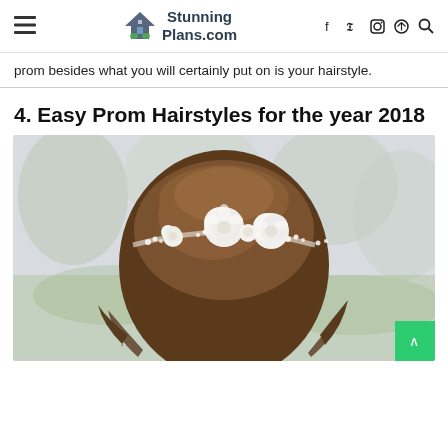StunningPlans.com — navigation header with hamburger menu, logo, social icons (Facebook, Twitter, Instagram, Pinterest) and search
prom besides what you will certainly put on is your hairstyle.
4. Easy Prom Hairstyles for the year 2018
[Figure (photo): Back view of a woman with brown hair styled in a half-up do adorned with a crown of white flowers (ranunculus and baby's breath), with a blurred natural background.]